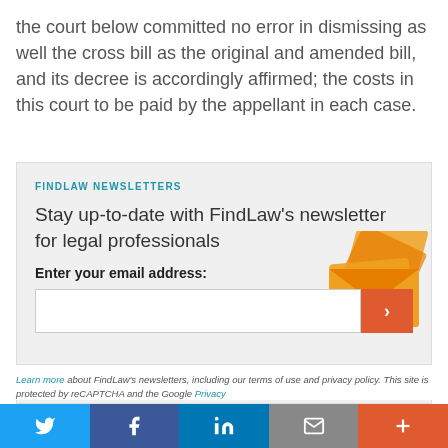the court below committed no error in dismissing as well the cross bill as the original and amended bill, and its decree is accordingly affirmed; the costs in this court to be paid by the appellant in each case.
FINDLAW NEWSLETTERS
Stay up-to-date with FindLaw's newsletter for legal professionals
Enter your email address:
[Figure (infographic): Orange envelope/mail graphic in the background of the newsletter signup box]
Learn more about FindLaw's newsletters, including our terms of use and privacy policy. This site is protected by reCAPTCHA and the Google Privacy
Twitter | Facebook | LinkedIn | Email | Plus